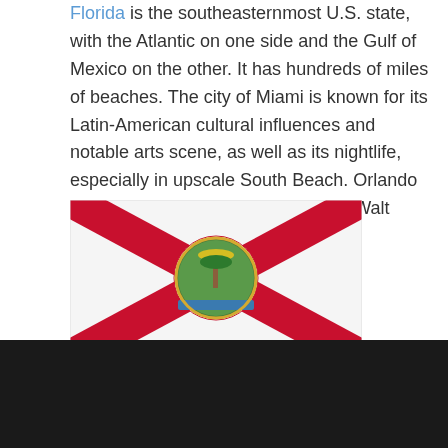Florida is the southeasternmost U.S. state, with the Atlantic on one side and the Gulf of Mexico on the other. It has hundreds of miles of beaches. The city of Miami is known for its Latin-American cultural influences and notable arts scene, as well as its nightlife, especially in upscale South Beach. Orlando is famed for theme parks, including Walt Disney World.
[Figure (illustration): Florida state flag — white background with a red X saltire cross and the Florida state seal in the center]
ABOUT COMPANY
Concrete Contractor - Flint Services Concrete Get A Free